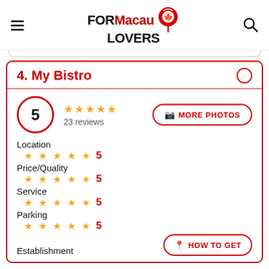FORMacauLOVERS
4. My Bistro
5 — 23 reviews
MORE PHOTOS
Location — 5 stars — 5
Price/Quality — 5 stars — 5
Service — 5 stars — 5
Parking — 5 stars — 5
Establishment
HOW TO GET